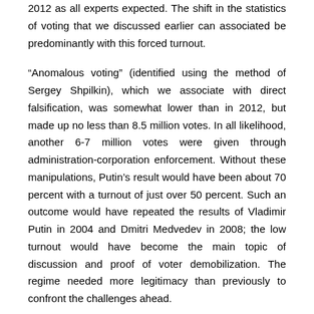2012 as all experts expected. The shift in the statistics of voting that we discussed earlier can associated be predominantly with this forced turnout.
“Anomalous voting” (identified using the method of Sergey Shpilkin), which we associate with direct falsification, was somewhat lower than in 2012, but made up no less than 8.5 million votes. In all likelihood, another 6-7 million votes were given through administration-corporation enforcement. Without these manipulations, Putin’s result would have been about 70 percent with a turnout of just over 50 percent. Such an outcome would have repeated the results of Vladimir Putin in 2004 and Dmitri Medvedev in 2008; the low turnout would have become the main topic of discussion and proof of voter demobilization. The regime needed more legitimacy than previously to confront the challenges ahead.